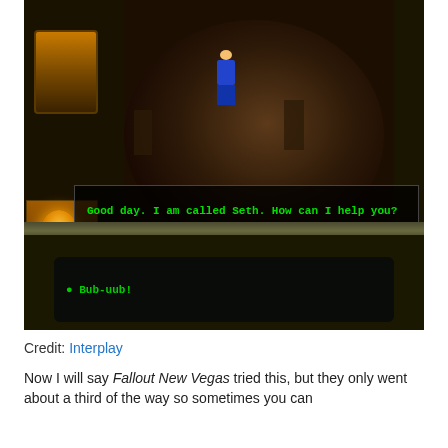[Figure (screenshot): Fallout game screenshot showing isometric view of a character in a dark industrial area. A dialog box displays 'Good day. I am called Seth. How can I help you?' in green text. At the bottom, a console area shows '• Bub-uub!' in green text.]
Credit: Interplay
Now I will say Fallout New Vegas tried this, but they only went about a third of the way so sometimes you can